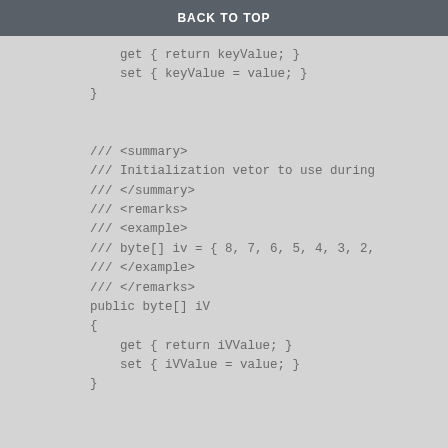BACK TO TOP
get { return keyValue; }
        set { keyValue = value; }
    }


    /// <summary>
    /// Initialization vetor to use during
    /// </summary>
    /// <remarks>
    /// <example>
    /// byte[] iv = { 8, 7, 6, 5, 4, 3, 2,
    /// </example>
    /// </remarks>
    public byte[] iV
    {
        get { return iVValue; }
        set { iVValue = value; }
    }